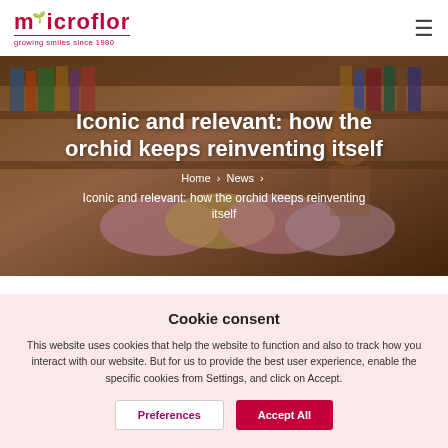MICROFLOR - growing smiles since 1980
[Figure (photo): Hero banner image showing orchid flowers in a library/bookshelf setting with a person in background. White bold text overlays.]
Iconic and relevant: how the orchid keeps reinventing itself
Home › News ›
Iconic and relevant: how the orchid keeps reinventing itself
Cookie consent
This website uses cookies that help the website to function and also to track how you interact with our website. But for us to provide the best user experience, enable the specific cookies from Settings, and click on Accept.
Preferences
Accept All